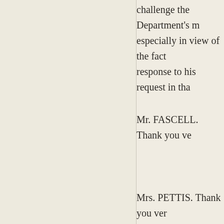challenge the Department's m especially in view of the fact response to his request in tha
Mr. FASCELL. Thank you ve
Chainman ZABLOCKI. The colleague of ours, the gentlev opportunity to work with Cor consent – if there is no objec statement.
Mrs. PETTIS. Thank you ver